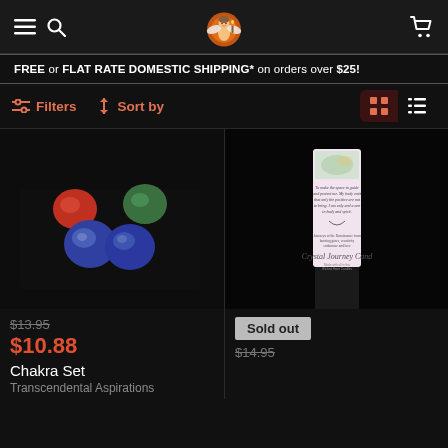Navigation header with hamburger menu, search icon, logo, and cart icon
FREE or FLAT RATE DOMESTIC SHIPPING* on orders over $25!
Filters  Sort by
[Figure (photo): Product photo of chakra crystal stones on black background]
$13.95
$10.88
Chakra Set
Transcendental Aspirations
[Figure (photo): Product photo of Crystal Journey Candle with pink/white label on black background]
Sold out
$14.95